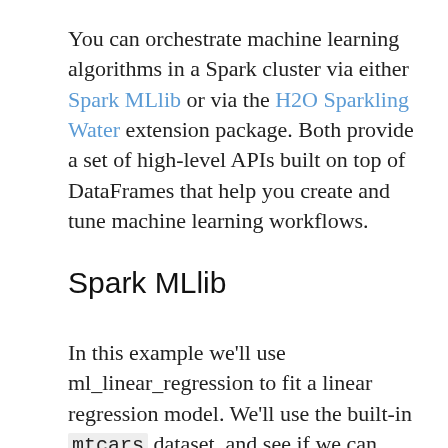You can orchestrate machine learning algorithms in a Spark cluster via either Spark MLlib or via the H2O Sparkling Water extension package. Both provide a set of high-level APIs built on top of DataFrames that help you create and tune machine learning workflows.
Spark MLlib
In this example we'll use ml_linear_regression to fit a linear regression model. We'll use the built-in mtcars dataset, and see if we can predict a car's fuel